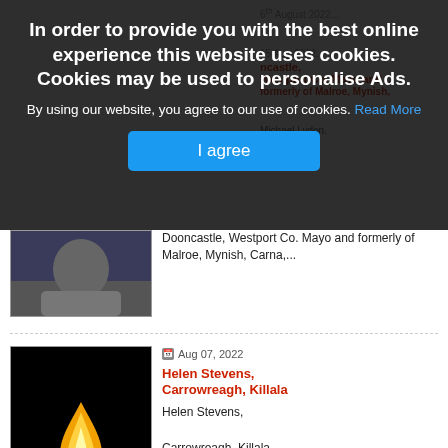In order to provide you with the best online experience this website uses cookies. Cookies may be used to personalise Ads.
By using our website, you agree to our use of cookies. Read More
I agree
[Figure (photo): Partially visible person photo behind overlay, dark toned]
Dooncastle, Westport Co. Mayo and formerly of Malroe, Mynish, Carna,...
[Figure (photo): A single candle flame on black background]
Aug 07, 2022
Helen Stevens, Carrowreagh, Killala
Helen Stevens,

Carrowreagh, Killala.

Sister of Catherine O'Hora & Joseph & Gerard...